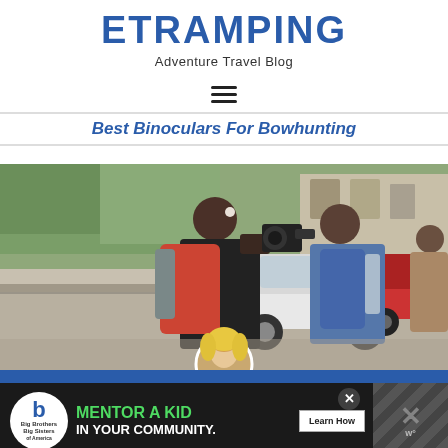ETRAMPING
Adventure Travel Blog
[Figure (other): Hamburger menu icon (three horizontal lines)]
Best Binoculars For Bowhunting
[Figure (photo): Two women with backpacks photographing on a street, a white Mini Cooper and red car in background, trees and building visible]
[Figure (other): Advertisement banner: Big Brothers Big Sisters logo, 'MENTOR A KID IN YOUR COMMUNITY.' with Learn How button, close button, and striped graphic with X mark]